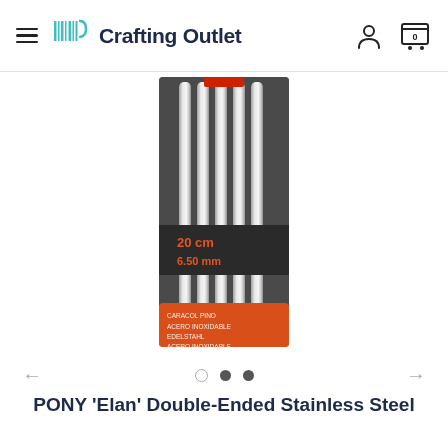Crafting Outlet
[Figure (photo): PONY Elan double-ended stainless steel knitting needles in packaging, showing 5 silver needles with a dark red/grey label band reading '20 cm 6.50 mm', and an orange bottom label with text 'CARACOL PINO ACERO INOXIDABLE EDELSTAHL ACERO INOXIDABLE']
PONY 'Elan' Double-Ended Stainless Steel